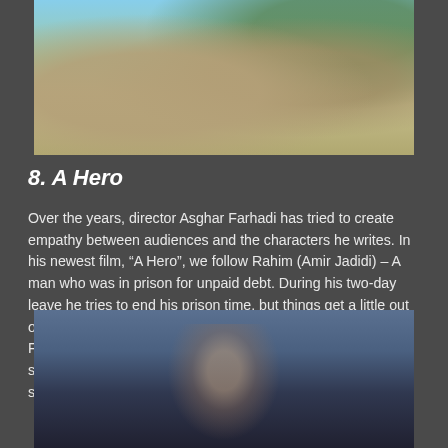[Figure (photo): Outdoor scene with two people walking on a street, trees and buildings in background]
8. A Hero
Over the years, director Asghar Farhadi has tried to create empathy between audiences and the characters he writes. In his newest film, “A Hero”, we follow Rahim (Amir Jadidi) – A man who was in prison for unpaid debt. During his two-day leave he tries to end his prison time, but things get a little out of hand. “A Hero” is another fantastic piece of work by Farhadi. He continues to keep audiences on the edge of their seat as he constructs an intricate story that powerfully showcases manipulation through social media.
[Figure (photo): Man standing in a foggy atmospheric scene, looking forward with serious expression]